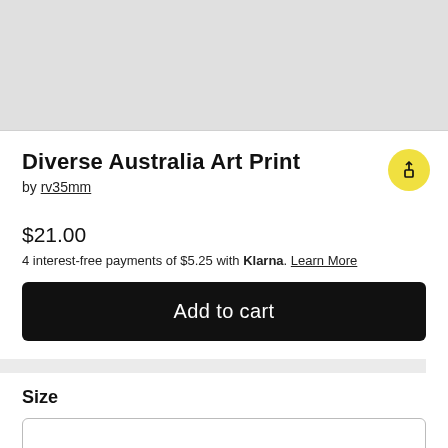[Figure (photo): Product image placeholder area (light gray background)]
Diverse Australia Art Print
by rv35mm
$21.00
4 interest-free payments of $5.25 with Klarna. Learn More
Add to cart
Size